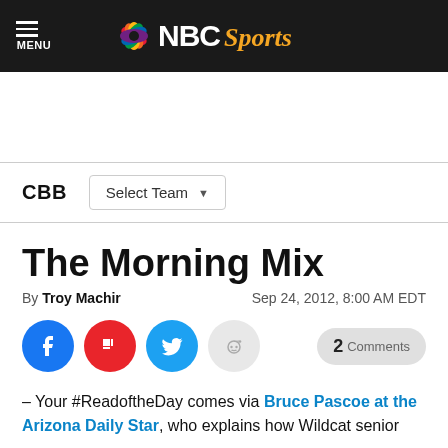NBC Sports — MENU
CBB | Select Team
The Morning Mix
By Troy Machir   Sep 24, 2012, 8:00 AM EDT
2 Comments
– Your #ReadoftheDay comes via Bruce Pascoe at the Arizona Daily Star, who explains how Wildcat senior